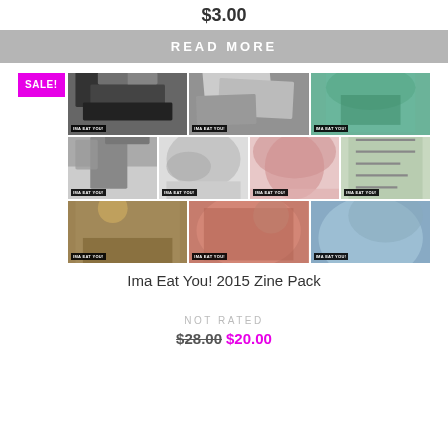$3.00
READ MORE
[Figure (photo): Grid of 10 zine covers for 'Ima Eat You! 2015 Zine Pack' with a SALE! badge in magenta. Row 1: 3 covers (desk clutter black/white, papers black/white, cafeteria scene teal tint). Row 2: 4 covers (highway sign black/white, figure lying down black/white, close-up face pink tint, handwritten text green tint). Row 3: 3 covers (abstract dark texture, figures red/pink tint, close-up body part blue tint). Each cover has 'IMA EAT YOU!' label.]
Ima Eat You! 2015 Zine Pack
NOT RATED
$28.00 $20.00